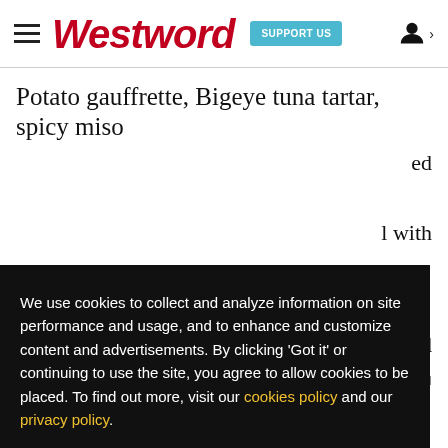Westword — SUPPORT US
Potato gauffrette, Bigeye tuna tartar, spicy miso
We use cookies to collect and analyze information on site performance and usage, and to enhance and customize content and advertisements. By clicking 'Got it' or continuing to use the site, you agree to allow cookies to be placed. To find out more, visit our cookies policy and our privacy policy.
Got it!
sea salt, paired with Sudachi shochu